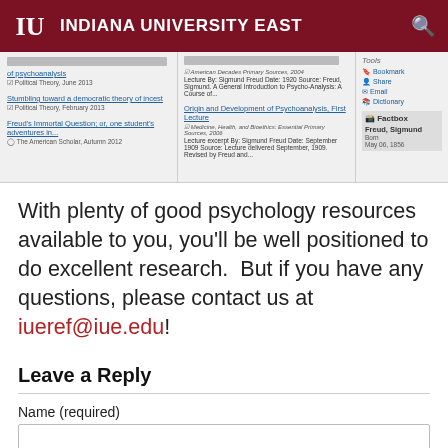INDIANA UNIVERSITY EAST
[Figure (screenshot): Screenshot of Indiana University East library database results page showing articles about psychoanalysis including 'Stumbling toward a democratic theory of incest' (Political Theory, February 2013), 'Freud's Immortal Question; or, one student's adventures in...' (The American Scholar, Autumn 2012), 'Origin and Development of Psychoanalysis, First Lecture' (Medicine, Health, and Bioethics: Essential Primary Sources, 2006), and a Factbox about Freud, Sigmund born May 06, 1856. Tools sidebar with Bookmark, Share, Email, Dictionary options.]
With plenty of good psychology resources available to you, you'll be well positioned to do excellent research.  But if you have any questions, please contact us at iueref@iue.edu!
Leave a Reply
Name (required)